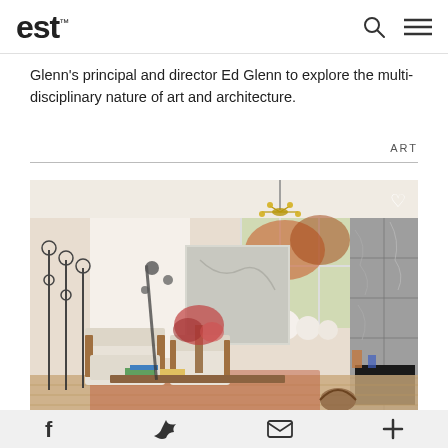est
Glenn's principal and director Ed Glenn to explore the multi-disciplinary nature of art and architecture.
ART
[Figure (photo): Interior living room with white armchairs, a wood coffee table stacked with books, floral arrangement, sculptural floor lamp, large window with autumn foliage, gold chandelier, abstract grey canvas painting, and a stone-tiled fireplace surround.]
f  (twitter)  (email)  +